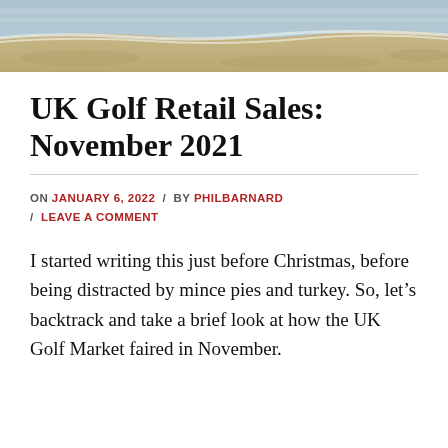[Figure (photo): Aerial or coastal landscape photo showing sandy ground and water/waves at the top of the page, used as a banner image.]
UK Golf Retail Sales: November 2021
ON JANUARY 6, 2022 / BY PHILBARNARD / LEAVE A COMMENT
I started writing this just before Christmas, before being distracted by mince pies and turkey. So, let’s backtrack and take a brief look at how the UK Golf Market faired in November.